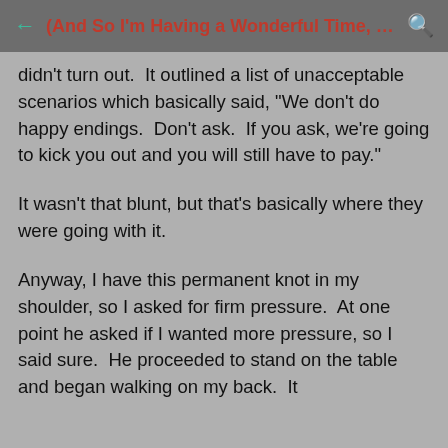(And So I'm Having a Wonderful Time, But I...
didn't turn out.  It outlined a list of unacceptable scenarios which basically said, "We don't do happy endings.  Don't ask.  If you ask, we're going to kick you out and you will still have to pay."
It wasn't that blunt, but that's basically where they were going with it.
Anyway, I have this permanent knot in my shoulder, so I asked for firm pressure.  At one point he asked if I wanted more pressure, so I said sure.  He proceeded to stand on the table and began walking on my back.  It